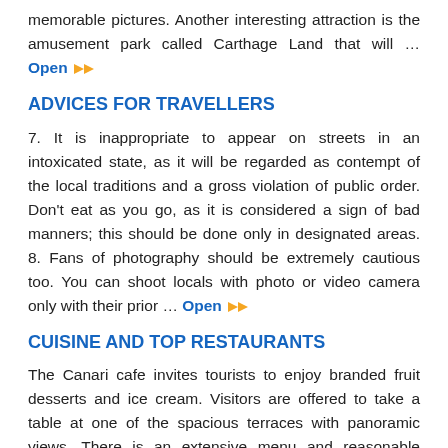memorable pictures. Another interesting attraction is the amusement park called Carthage Land that will … Open
ADVICES FOR TRAVELLERS
7. It is inappropriate to appear on streets in an intoxicated state, as it will be regarded as contempt of the local traditions and a gross violation of public order. Don't eat as you go, as it is considered a sign of bad manners; this should be done only in designated areas. 8. Fans of photography should be extremely cautious too. You can shoot locals with photo or video camera only with their prior … Open
CUISINE AND TOP RESTAURANTS
The Canari cafe invites tourists to enjoy branded fruit desserts and ice cream. Visitors are offered to take a table at one of the spacious terraces with panoramic views. There is an extensive menu and reasonable prices among main advantages of Canari. The Shakespeare restaurant specializes in British cuisine. Spacious and beautifully decorated, it is perfect for those tourists, the status of food connoisseur.